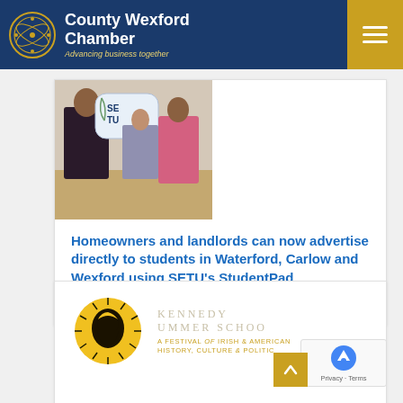County Wexford Chamber — Advancing business together
[Figure (photo): People holding a large SETU branded foam hand/sign at an indoor event]
Homeowners and landlords can now advertise directly to students in Waterford, Carlow and Wexford using SETU's StudentPad
22/08/2022
[Figure (logo): Kennedy Summer School logo — circular yellow illustration of JFK with sunburst rays, text: KENNEDY SUMMER SCHOOL — A FESTIVAL OF IRISH & AMERICAN HISTORY, CULTURE & POLITICS]